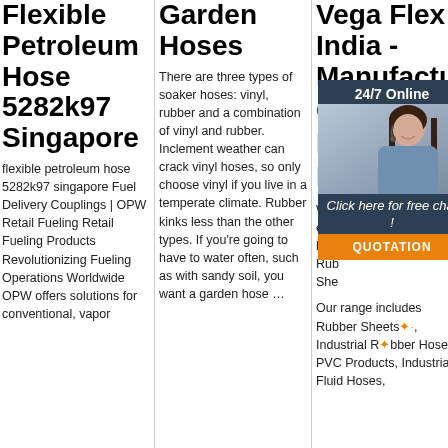Flexible Petroleum Hose 5282k97 Singapore
flexible petroleum hose 5282k97 singapore Fuel Delivery Couplings | OPW Retail Fueling Retail Fueling Products Revolutionizing Fueling Operations Worldwide OPW offers solutions for conventional, vapor
Garden Hoses
There are three types of soaker hoses: vinyl, rubber and a combination of vinyl and rubber. Inclement weather can crack vinyl hoses, so only choose vinyl if you live in a temperate climate. Rubber kinks less than the other types. If you're going to have to water often, such as with sandy soil, you want a garden hose …
Vega Flex India - Manufacture Of Industrial Hoses
[Figure (other): 24/7 Online chat widget with woman wearing headset, 'Click here for free chat!' prompt and orange QUOTATION button]
With ... expe... high... Rubber Sheets, She...
Our range includes Rubber Sheets, Industrial Rubber Hoses, PVC Products, Industrial Fluid Hoses,